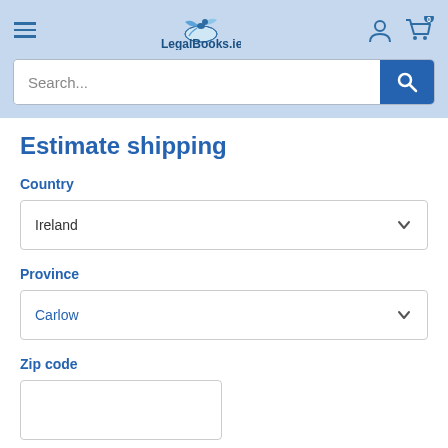[Figure (logo): LegalBooks.ie logo with a bird and scroll, blue text]
Estimate shipping
Country
Ireland
Province
Carlow
Zip code